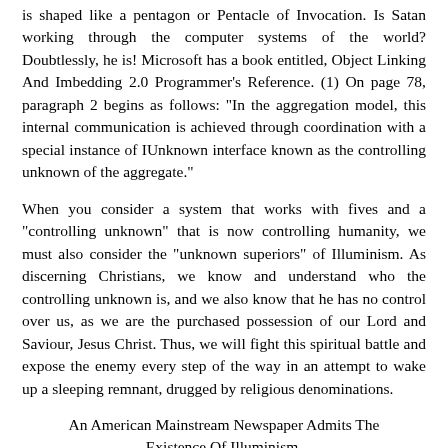is shaped like a pentagon or Pentacle of Invocation. Is Satan working through the computer systems of the world? Doubtlessly, he is! Microsoft has a book entitled, Object Linking And Imbedding 2.0 Programmer's Reference. (1) On page 78, paragraph 2 begins as follows: "In the aggregation model, this internal communication is achieved through coordination with a special instance of IUnknown interface known as the controlling unknown of the aggregate."
When you consider a system that works with fives and a "controlling unknown" that is now controlling humanity, we must also consider the "unknown superiors" of Illuminism. As discerning Christians, we know and understand who the controlling unknown is, and we also know that he has no control over us, as we are the purchased possession of our Lord and Saviour, Jesus Christ. Thus, we will fight this spiritual battle and expose the enemy every step of the way in an attempt to wake up a sleeping remnant, drugged by religious denominations.
An American Mainstream Newspaper Admits The Existence Of Illuminism.